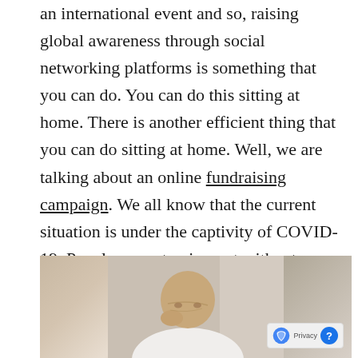an international event and so, raising global awareness through social networking platforms is something that you can do. You can do this sitting at home. There is another efficient thing that you can do sitting at home. Well, we are talking about an online fundraising campaign. We all know that the current situation is under the captivity of COVID-19. People are not going out without any solid reason. Thus, amid this situation, if you want to raise funds for needy people or affected people, you can use an online fundraising platform.
[Figure (photo): Photo of an elderly bald man in a white shirt, leaning forward with his hand near his face, appearing distressed or tired. Background is blurred.]